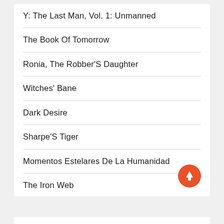Y: The Last Man, Vol. 1: Unmanned
The Book Of Tomorrow
Ronia, The Robber'S Daughter
Witches' Bane
Dark Desire
Sharpe'S Tiger
Momentos Estelares De La Humanidad
The Iron Web